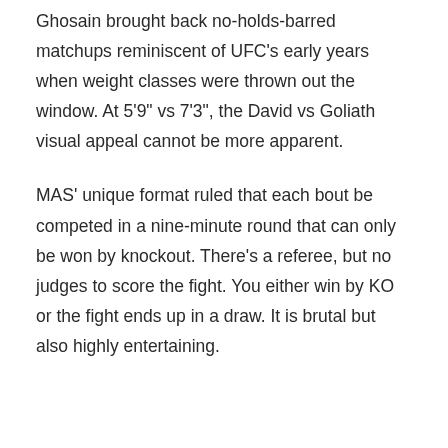Ghosain brought back no-holds-barred matchups reminiscent of UFC's early years when weight classes were thrown out the window. At 5'9" vs 7'3", the David vs Goliath visual appeal cannot be more apparent.
MAS' unique format ruled that each bout be competed in a nine-minute round that can only be won by knockout. There's a referee, but no judges to score the fight. You either win by KO or the fight ends up in a draw. It is brutal but also highly entertaining.